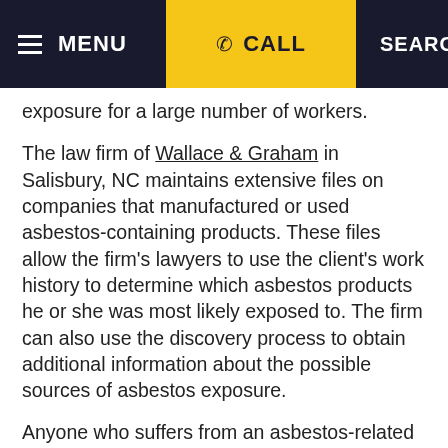MENU   CALL   SEARCH
exposure for a large number of workers.
The law firm of Wallace & Graham in Salisbury, NC maintains extensive files on companies that manufactured or used asbestos-containing products. These files allow the firm's lawyers to use the client's work history to determine which asbestos products he or she was most likely exposed to. The firm can also use the discovery process to obtain additional information about the possible sources of asbestos exposure.
Anyone who suffers from an asbestos-related disease, such as lung cancer, mesothelioma or asbestosis, or who has lost a loved one to one of these diseases, may wish to consult an attorney at Wallace & Graham. Such a consultation can shed light on where the victim may have been exposed